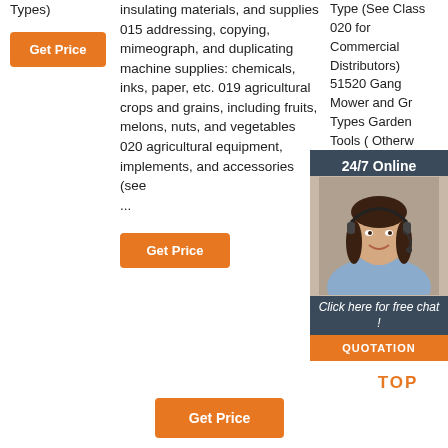Types)
Get Price
insulating materials, and supplies 015 addressing, copying, mimeograph, and duplicating machine supplies: chemicals, inks, paper, etc. 019 agricultural crops and grains, including fruits, melons, nuts, and vegetables 020 agricultural equipment, implements, and accessories (see ...
Get Price
Type (See Class 020 for Commercial Distributors) 51520 Gang Mower and Gr Types Garden Tools ( Otherw Specifi (Includ 51524
[Figure (infographic): Customer service overlay box with '24/7 Online' header, a woman with headset, 'Click here for free chat!' text, and a QUOTATION orange button]
Get Price
[Figure (infographic): TOP badge with orange dots arranged in triangle and orange TOP text]
Get Price